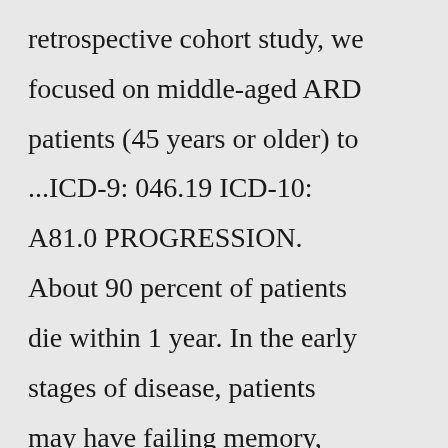retrospective cohort study, we focused on middle-aged ARD patients (45 years or older) to ...ICD-9: 046.19 ICD-10: A81.0 PROGRESSION. About 90 percent of patients die within 1 year. In the early stages of disease, patients may have failing memory, behavioral changes, lack of coordination and visual disturbances. ... Clinical notes and results of neurological examination that establish the presence of